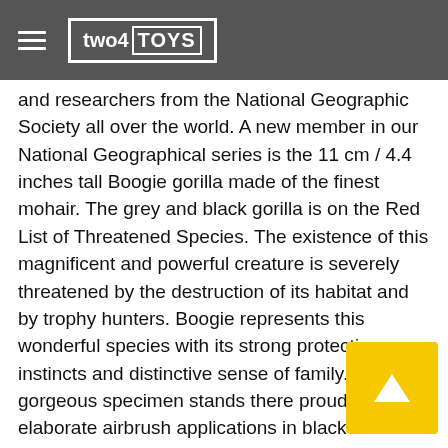two4 TOYS
and researchers from the National Geographic Society all over the world. A new member in our National Geographical series is the 11 cm / 4.4 inches tall Boogie gorilla made of the finest mohair. The grey and black gorilla is on the Red List of Threatened Species. The existence of this magnificent and powerful creature is severely threatened by the destruction of its habitat and by trophy hunters. Boogie represents this wonderful species with its strong protective instincts and distinctive sense of family. This gorgeous specimen stands there proudly. The elaborate airbrush applications in black and brown emphasize the majesty of his appearance. His feet, face and ears are highlighted by felt material. Boogie gorilla comes in a beautiful gift box. A beautiful gift for adults. And a status symbol for the threatened gorillas in the African jungle.